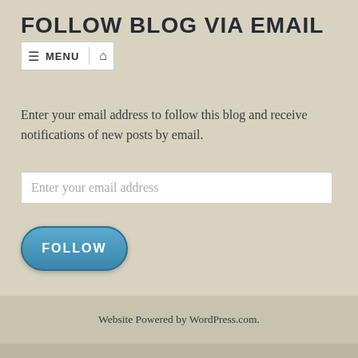FOLLOW BLOG VIA EMAIL
[Figure (screenshot): Navigation bar with hamburger menu icon, MENU text, and home icon on white background]
Enter your email address to follow this blog and receive notifications of new posts by email.
[Figure (screenshot): Email input field with placeholder text 'Enter your email address']
[Figure (screenshot): Blue rounded FOLLOW button]
Website Powered by WordPress.com.